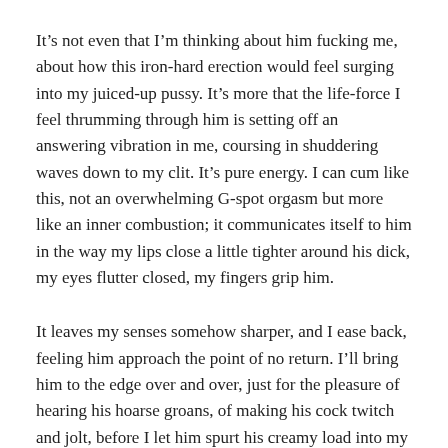It’s not even that I’m thinking about him fucking me, about how this iron-hard erection would feel surging into my juiced-up pussy. It’s more that the life-force I feel thrumming through him is setting off an answering vibration in me, coursing in shuddering waves down to my clit. It’s pure energy. I can cum like this, not an overwhelming G-spot orgasm but more like an inner combustion; it communicates itself to him in the way my lips close a little tighter around his dick, my eyes flutter closed, my fingers grip him.
It leaves my senses somehow sharper, and I ease back, feeling him approach the point of no return. I’ll bring him to the edge over and over, just for the pleasure of hearing his hoarse groans, of making his cock twitch and jolt, before I let him spurt his creamy load into my mouth for me to gulp down.